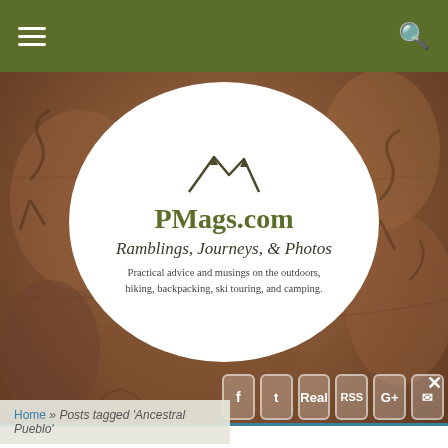PMags.com - navigation header with hamburger menu and search icon
[Figure (photo): Rocky stone wall background with petroglyphs/carvings, brownish-red rock texture]
[Figure (logo): PMags.com oval logo with mountain icon. Site title: PMags.com, tagline: Ramblings, Journeys, & Photos. Description: Practical advice and musings on the outdoors, hiking, backpacking, ski touring, and camping.]
Subscribe to PMags.com
Receive an email notification of new posts direct to your inbox once a week.
Old school text email digest
It is easy!
CLICK HERE TO SUBSCRIBE
Home » Posts tagged 'Ancestral Pueblo'